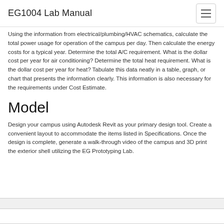EG1004 Lab Manual
Using the information from electrical/plumbing/HVAC schematics, calculate the total power usage for operation of the campus per day. Then calculate the energy costs for a typical year. Determine the total A/C requirement. What is the dollar cost per year for air conditioning? Determine the total heat requirement. What is the dollar cost per year for heat? Tabulate this data neatly in a table, graph, or chart that presents the information clearly. This information is also necessary for the requirements under Cost Estimate.
Model
Design your campus using Autodesk Revit as your primary design tool. Create a convenient layout to accommodate the items listed in Specifications. Once the design is complete, generate a walk-through video of the campus and 3D print the exterior shell utilizing the EG Prototyping Lab.
[Figure (other): Bottom box/panel element, partially visible]